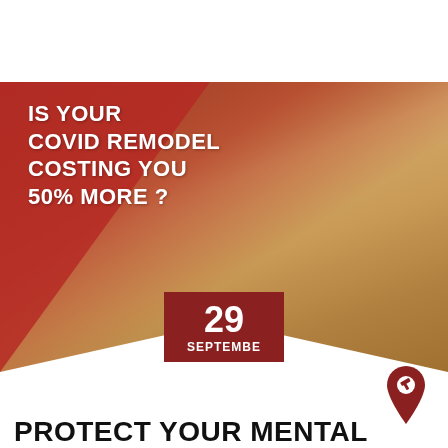[Figure (photo): Interior of a home under construction/renovation with exposed wooden framing and rafters. A red ladder leans against the wall on the right. Two people (a woman and a man) stand at a table in the center looking at plans. A red triangular overlay covers the upper-left portion of the image with the text 'IS YOUR COVID REMODEL COSTING YOU 50% MORE?' in white. A dark red date badge shows '29 SEPTEMBER' in the center-bottom.]
PROTECT YOUR MENTAL